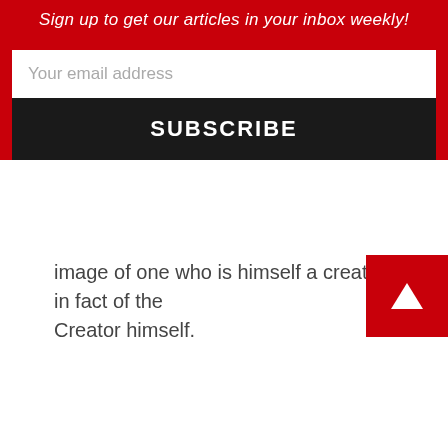Sign up to get our articles in your inbox weekly!
Your email address
SUBSCRIBE
image of one who is himself a creator, in fact of the Creator himself.